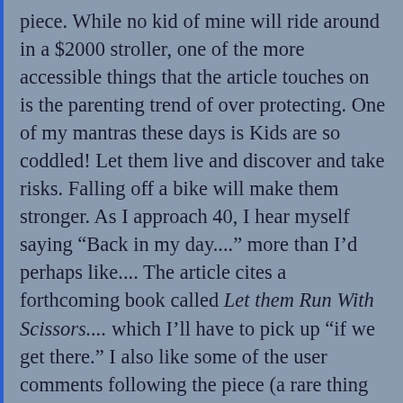piece. While no kid of mine will ride around in a $2000 stroller, one of the more accessible things that the article touches on is the parenting trend of over protecting. One of my mantras these days is Kids are so coddled! Let them live and discover and take risks. Falling off a bike will make them stronger. As I approach 40, I hear myself saying “Back in my day....” more than I’d perhaps like.... The article cites a forthcoming book called Let them Run With Scissors.... which I’ll have to pick up “if we get there.” I also like some of the user comments following the piece (a rare thing these days of so much general negativity in comments sections everywhere). One in particular is by a mom of 19-year-old twins who